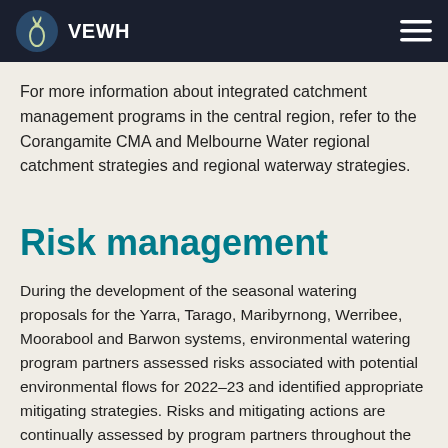VEWH
all flow-stressed systems in the central region.
For more information about integrated catchment management programs in the central region, refer to the Corangamite CMA and Melbourne Water regional catchment strategies and regional waterway strategies.
Risk management
During the development of the seasonal watering proposals for the Yarra, Tarago, Maribyrnong, Werribee, Moorabool and Barwon systems, environmental watering program partners assessed risks associated with potential environmental flows for 2022–23 and identified appropriate mitigating strategies. Risks and mitigating actions are continually assessed by program partners throughout the year (see subsection I.3.6).